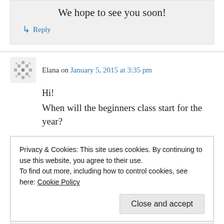We hope to see you soon!
↳ Reply
Elana on January 5, 2015 at 3:35 pm
Hi!
When will the beginners class start for the year?
Privacy & Cookies: This site uses cookies. By continuing to use this website, you agree to their use.
To find out more, including how to control cookies, see here: Cookie Policy
Close and accept